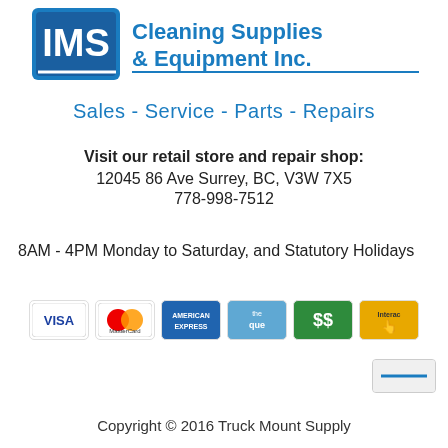[Figure (logo): IMS Cleaning Supplies & Equipment Inc. logo with blue text and IMS mark]
Sales - Service - Parts - Repairs
Visit our retail store and repair shop:
12045 86 Ave Surrey, BC, V3W 7X5
778-998-7512
8AM - 4PM Monday to Saturday, and Statutory Holidays
[Figure (illustration): Payment method icons: Visa, MasterCard, American Express, Cheque, Cash ($$), Interac]
Copyright © 2016 Truck Mount Supply